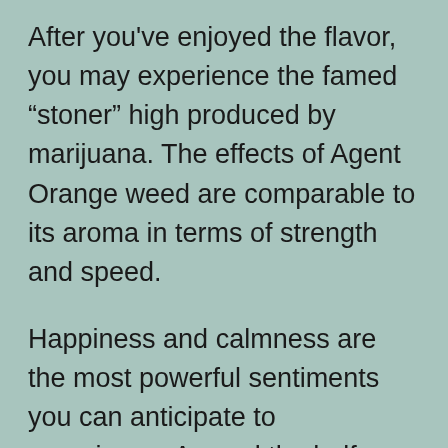After you've enjoyed the flavor, you may experience the famed “stoner” high produced by marijuana. The effects of Agent Orange weed are comparable to its aroma in terms of strength and speed.
Happiness and calmness are the most powerful sentiments you can anticipate to experience. Around the halfway point of the smoke, you may expect to acquire creative energy that includes the optimism and pleasure you felt at first taste. It will be simple to unwind; nevertheless, there’s little danger of getting glued to your sofa. The high quickly